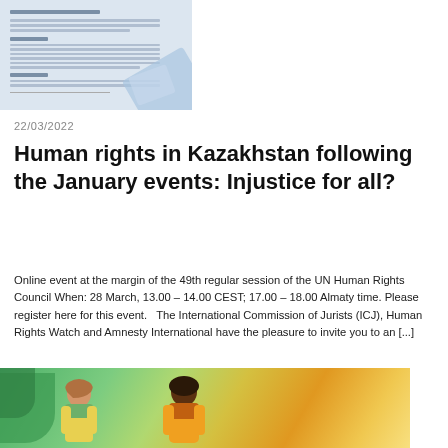[Figure (illustration): Thumbnail image of a document page with blue/grey diagonal design elements, showing text blocks and section headers.]
22/03/2022
Human rights in Kazakhstan following the January events: Injustice for all?
Online event at the margin of the 49th regular session of the UN Human Rights Council When: 28 March, 13.00 – 14.00 CEST; 17.00 – 18.00 Almaty time. Please register here for this event.   The International Commission of Jurists (ICJ), Human Rights Watch and Amnesty International have the pleasure to invite you to an [...]
[Figure (illustration): Colorful illustration showing diverse people figures against a background of green and yellow shapes, representing human rights advocacy.]